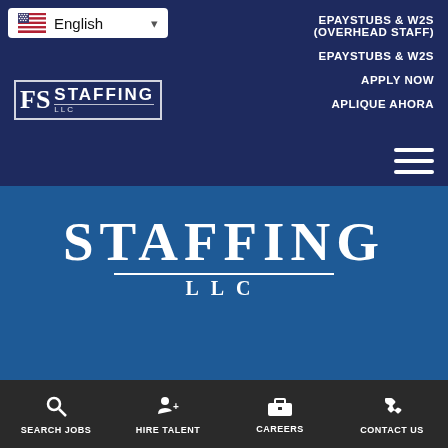English | EPAYSTUBS & W2S (OVERHEAD STAFF) | EPAYSTUBS & W2S | APPLY NOW | APLIQUE AHORA
[Figure (logo): FS Staffing LLC logo in white on dark navy background]
[Figure (logo): FS Staffing LLC large logo text on blue background reading STAFFING LLC]
FS Staffing LLC
Hartford, CT 06119
860-216-9146
SEARCH JOBS | HIRE TALENT | CAREERS | CONTACT US